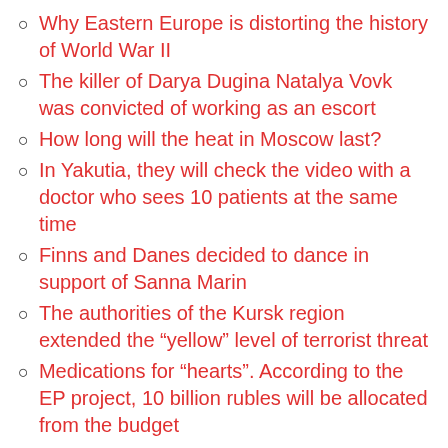Why Eastern Europe is distorting the history of World War II
The killer of Darya Dugina Natalya Vovk was convicted of working as an escort
How long will the heat in Moscow last?
In Yakutia, they will check the video with a doctor who sees 10 patients at the same time
Finns and Danes decided to dance in support of Sanna Marin
The authorities of the Kursk region extended the “yellow” level of terrorist threat
Medications for “hearts”. According to the EP project, 10 billion rubles will be allocated from the budget
Random Text
...